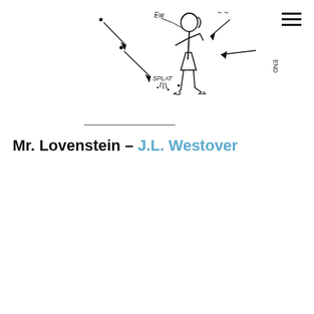[Figure (illustration): Hand-drawn comic illustration showing a woman standing with arrows and dots scattered around her, with text labels 'EW', 'SPLAT', and sideways text 'END' on the right side. The woman is drawn in simple line art style.]
Mr. Lovenstein – J.L. Westover